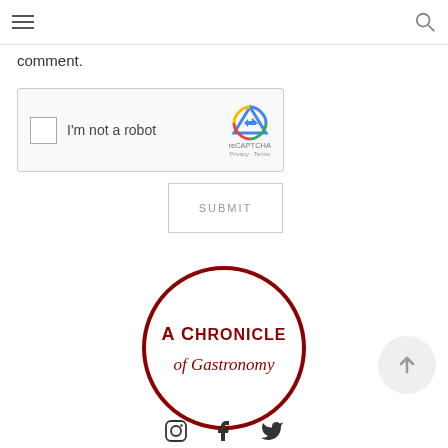navigation menu and search icon
comment.
[Figure (other): reCAPTCHA widget with checkbox labeled 'I'm not a robot' and reCAPTCHA logo with Privacy and Terms links]
SUBMIT
[Figure (logo): Circular logo reading 'A Chronicle of Gastronomy' in dark red text with a circular border]
[Figure (other): Scroll-to-top button: circle with upward arrow]
[Figure (other): Social media icons: Instagram, Facebook, Twitter]